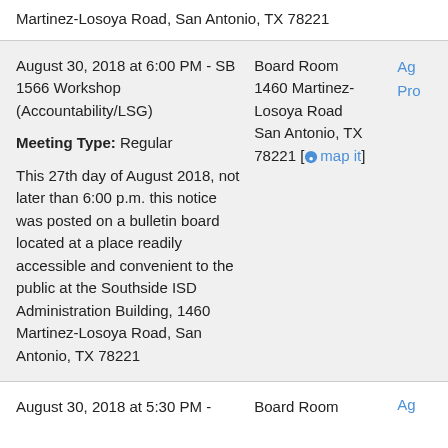Martinez-Losoya Road, San Antonio, TX 78221
August 30, 2018 at 6:00 PM - SB 1566 Workshop (Accountability/LSG)

Meeting Type: Regular

This 27th day of August 2018, not later than 6:00 p.m. this notice was posted on a bulletin board located at a place readily accessible and convenient to the public at the Southside ISD Administration Building, 1460 Martinez-Losoya Road, San Antonio, TX 78221
Board Room 1460 Martinez-Losoya Road San Antonio, TX 78221 [map it]
Ag Pro
August 30, 2018 at 5:30 PM -
Board Room
Ag